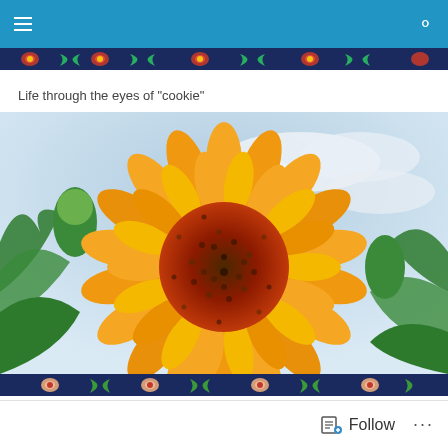Life through the eyes of "cookie"
[Figure (photo): Close-up photograph of a large sunflower with orange-yellow petals and a dark red-brown center, against a cloudy sky with green foliage in the background.]
more about prayers
Follow ...